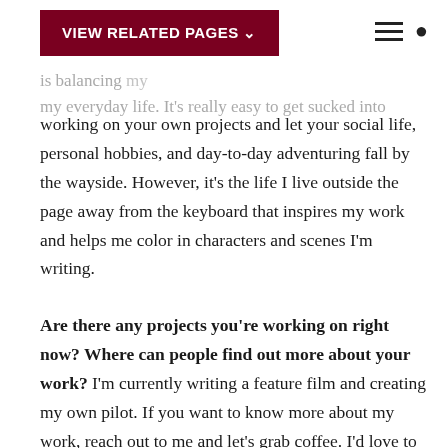VIEW RELATED PAGES
my everyday life. It's really easy to get sucked into working on your own projects and let your social life, personal hobbies, and day-to-day adventuring fall by the wayside. However, it's the life I live outside the page away from the keyboard that inspires my work and helps me color in characters and scenes I'm writing.
Are there any projects you're working on right now? Where can people find out more about your work? I'm currently writing a feature film and creating my own pilot. If you want to know more about my work, reach out to me and let's grab coffee. I'd love to chat!
What advice do you have for prospective students looking to apply to SCA? My advice to prospective